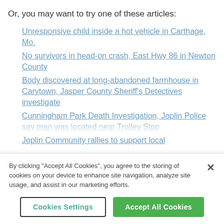Or, you may want to try one of these articles:
Unresponsive child inside a hot vehicle in Carthage, Mo.
No survivors in head-on crash, East Hwy 86 in Newton County
Body discovered at long-abandoned farmhouse in Carytown, Jasper County Sheriff's Detectives investigate
Cunningham Park Death Investigation, Joplin Police say man was located near Trolley Stop
Joplin Community rallies to support local
By clicking "Accept All Cookies", you agree to the storing of cookies on your device to enhance site navigation, analyze site usage, and assist in our marketing efforts.